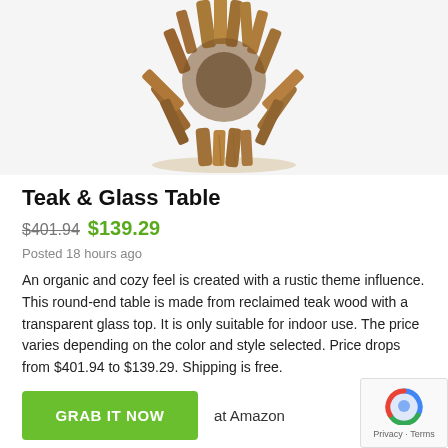[Figure (photo): Photo of a round teak and glass table made from reclaimed driftwood pieces, viewed from above at an angle showing the wooden base structure]
Teak & Glass Table
$401.94  $139.29
Posted 18 hours ago
An organic and cozy feel is created with a rustic theme influence. This round-end table is made from reclaimed teak wood with a transparent glass top. It is only suitable for indoor use. The price varies depending on the color and style selected. Price drops from $401.94 to $139.29. Shipping is free.
GRAB IT NOW  at Amazon